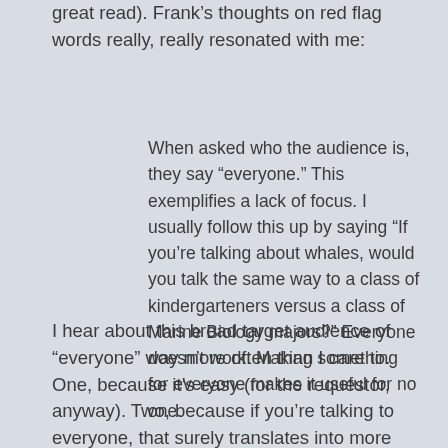great read). Frank’s thoughts on red flag words really, really resonated with me:
When asked who the audience is, they say “everyone.” This exemplifies a lack of focus. I usually follow this up by saying “If you’re talking about whales, would you talk the same way to a class of kindergarteners versus a class of Marine Biology majors?” Everyone doesn’t work. Making something for everyone makes it useful for no one.
I hear about this broad target audience of “everyone” way more often than I care to. One, because it’s easy (for the requestor, anyway). Two, because if you’re talking to everyone, that surely translates into more sales, right? If you aren’t sure of the answer to that question, read the previous quote again. Know your